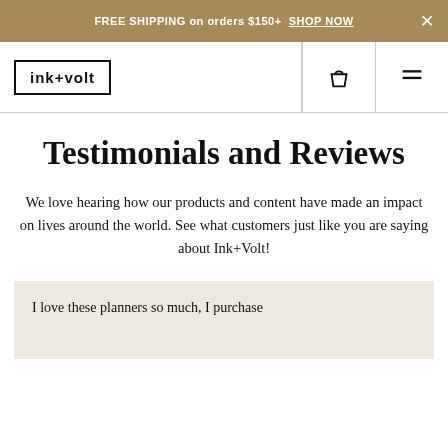FREE SHIPPING on orders $150+  SHOP NOW
[Figure (logo): ink+volt logo in rectangular border, with shopping bag icon and hamburger menu icon in nav bar]
Testimonials and Reviews
We love hearing how our products and content have made an impact on lives around the world. See what customers just like you are saying about Ink+Volt!
I love these planners so much, I purchase